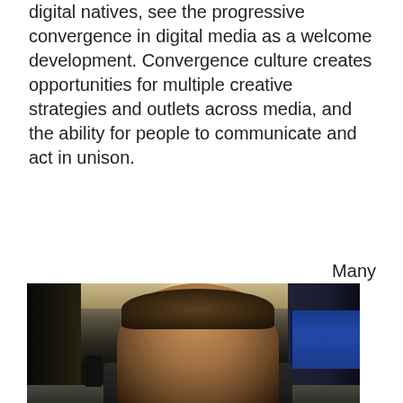digital natives, see the progressive convergence in digital media as a welcome development. Convergence culture creates opportunities for multiple creative strategies and outlets across media, and the ability for people to communicate and act in unison.
Many
[Figure (photo): A man smiling at the camera in what appears to be a subway or train station. He is in the foreground with curly hair and a dark jacket. In the background, a train platform is visible with a blue train on the right and a person walking in the distance. The station has a distinctive arched ceiling structure.]